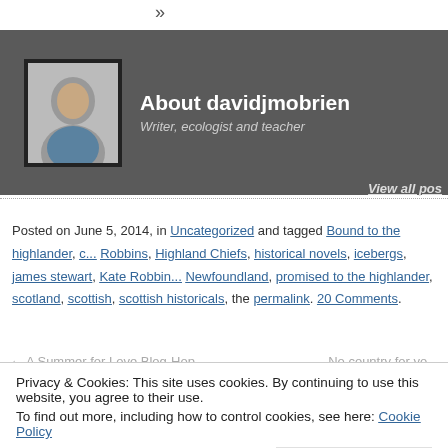»
[Figure (photo): Author profile box with photo of davidjmobrien. Dark grey background. Shows a man's headshot photo in a black-bordered frame. Text: About davidjmobrien, Writer, ecologist and teacher. View all pos...]
Posted on June 5, 2014, in Uncategorized and tagged Bound to the highlander, c... Robbins, Highland Chiefs, historical novels, icebergs, james stewart, Kate Robbin... Newfoundland, promised to the highlander, scotland, scottish, scottish historicals, ... the permalink. 20 Comments.
← A Summer for Love Blog-Hop    No country for yo...
Privacy & Cookies: This site uses cookies. By continuing to use this website, you agree to their use.
To find out more, including how to control cookies, see here: Cookie Policy
Close and accept